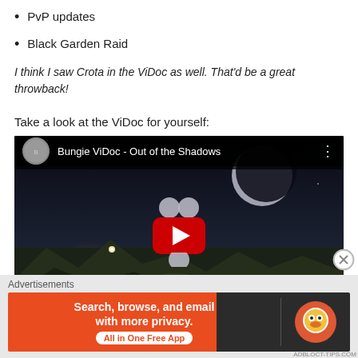PvP updates
Black Garden Raid
I think I saw Crota in the ViDoc as well. That'd be a great throwback!
Take a look at the ViDoc for yourself:
[Figure (screenshot): Embedded YouTube video thumbnail showing 'Bungie ViDoc - Out of the Shadows' with play button overlay and a dark sci-fi landscape]
Advertisements
[Figure (screenshot): DuckDuckGo advertisement banner: 'Search, browse, and email with more privacy. All in One Free App' with DuckDuckGo logo on dark background]